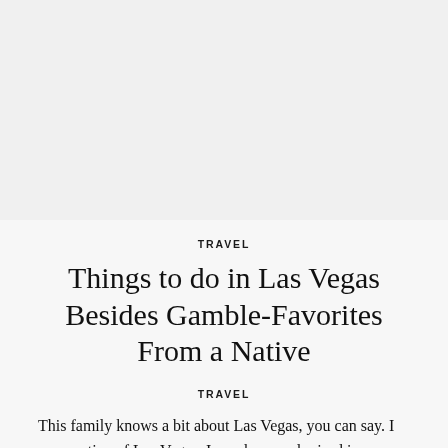[Figure (photo): Large image placeholder at the top of the page, appears to be a travel photo (white/light gray area)]
TRAVEL
Things to do in Las Vegas Besides Gamble-Favorites From a Native
TRAVEL
This family knows a bit about Las Vegas, you can say. I am a native of Las Vegas. I was born and raised in